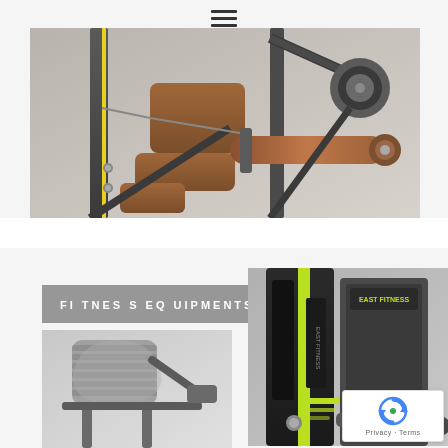[Figure (photo): Close-up of a fitness/gym cable rowing machine with brown padded seat, knee pads, and cylindrical handles on a metal frame with yellow accents]
FITNESS EQUIPMENTS
[Figure (photo): Fitness equipment piece – an abdominal/back workout machine with gray ribbed seat pad and metal frame, partially visible]
[Figure (photo): East Fitness branded gym machine with black and yellow-green color scheme, weight stack with yellow-green accents and a lever arm]